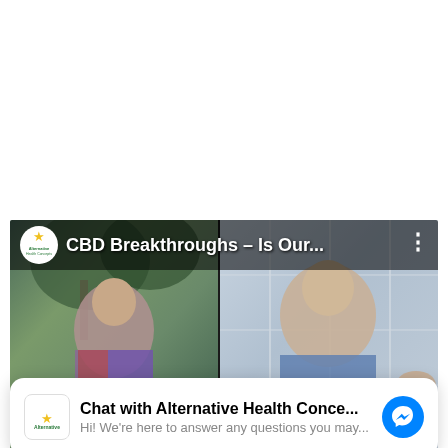[Figure (screenshot): Video thumbnail showing two people in a split-screen video call. Left side: a woman outdoors with trees in background. Right side: a man in a blue shirt indoors with white panel wall behind him. Video title overlay reads 'CBD Breakthroughs – Is Our...' with Alternative Health Concepts logo. Name plate shows 'Mike Warren' and 'www.Alternative-Health-Concepts.com'.]
Chat with Alternative Health Conce... Hi! We're here to answer any questions you may...